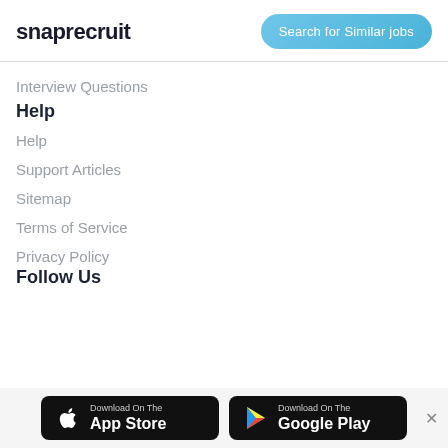snaprecruit
Search for Similar jobs
Interview Questions
Help
Help
Support Articles
Sitemap
Terms of Service
Privacy Policy
Follow Us
[Figure (other): Download on the App Store button]
[Figure (other): Download on the Google Play button]